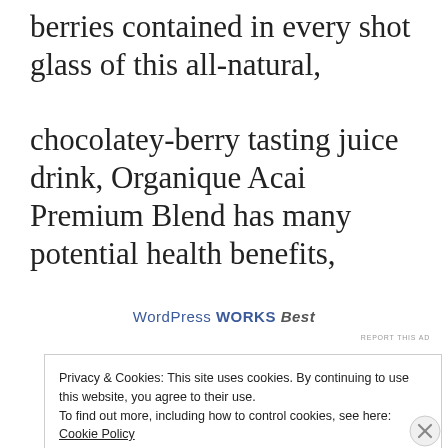berries contained in every shot glass of this all-natural, chocolatey-berry tasting juice drink, Organique Acai Premium Blend has many potential health benefits,
[Figure (other): Advertisement banner: 'WordPress WORKS best' link text]
REPORT THIS AD
Privacy & Cookies: This site uses cookies. By continuing to use this website, you agree to their use.
To find out more, including how to control cookies, see here: Cookie Policy
Close and accept